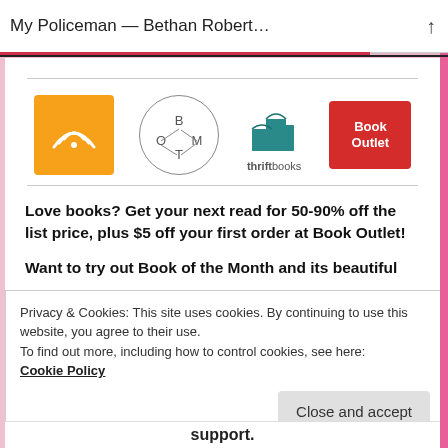My Policeman — Bethan Robert…
[Figure (logo): Audible logo - orange square with wifi/signal wave icon]
[Figure (logo): Book of the Month (BOTM) circular logo with B, O, T, M letters]
[Figure (logo): ThriftBooks logo - teal book stack icon with 'thriftbooks' text below]
[Figure (logo): Book Outlet logo - red badge with white text 'Book Outlet']
Love books? Get your next read for 50-90% off the list price, plus $5 off your first order at Book Outlet!
Want to try out Book of the Month and its beautiful
Privacy & Cookies: This site uses cookies. By continuing to use this website, you agree to their use.
To find out more, including how to control cookies, see here:
Cookie Policy
Close and accept
support.